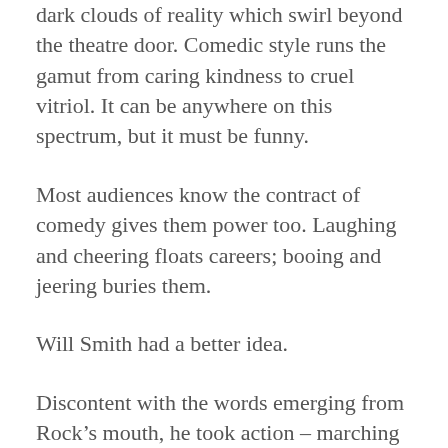dark clouds of reality which swirl beyond the theatre door. Comedic style runs the gamut from caring kindness to cruel vitriol. It can be anywhere on this spectrum, but it must be funny.
Most audiences know the contract of comedy gives them power too. Laughing and cheering floats careers; booing and jeering buries them.
Will Smith had a better idea.
Discontent with the words emerging from Rock’s mouth, he took action – marching on stage during the live telecast to meet the comedian, man to man. Failing to expect the unexpected, Rock stood tall and square, awaiting his arrival quizzically. As Smith’s